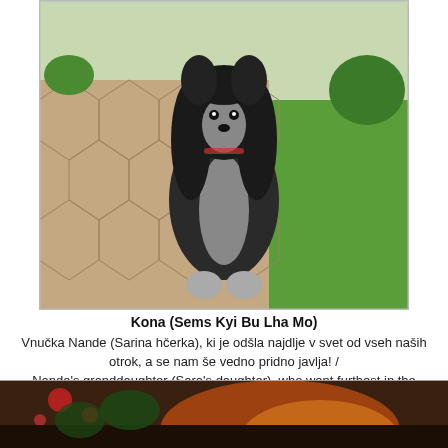[Figure (photo): A long-haired dog (Tibetan breed) sitting on a hexagonal stone patio with green grass and shrubs in the background.]
Kona (Sems Kyi Bu Lha Mo)
Vnučka Nande (Sarina hčerka), ki je odšla najdlje v svet od vseh naših otrok, a se nam še vedno pridno javlja! / Nanda's granddaughter (Sara's daughter), who went furthest in the big world from all of our children, but she still didn't forget on us !
[Figure (photo): Partial view of a Christmas or decorative scene with warm orange/red tones, partially cropped at the bottom of the page.]